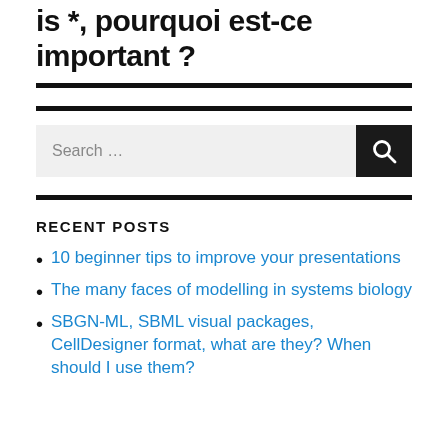is *, pourquoi est-ce important ?
RECENT POSTS
10 beginner tips to improve your presentations
The many faces of modelling in systems biology
SBGN-ML, SBML visual packages, CellDesigner format, what are they? When should I use them?